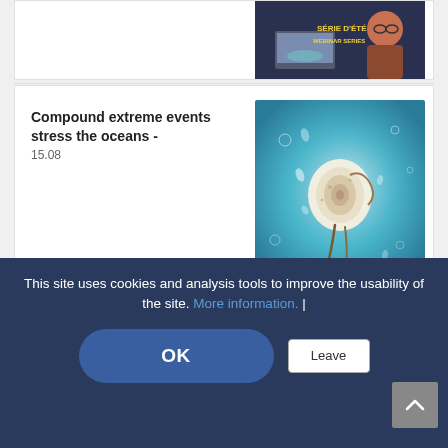[Figure (photo): Partial view of a card with a thumbnail image showing a person at a laptop with text 'SÉRIE D'ÉTÉ' overlay]
Compound extreme events stress the oceans -
15.08
[Figure (photo): Close-up underwater photograph of a snail or marine organism against a blue/teal water background]
This site uses cookies and analysis tools to improve the usability of the site. More information. |
OK
Leave